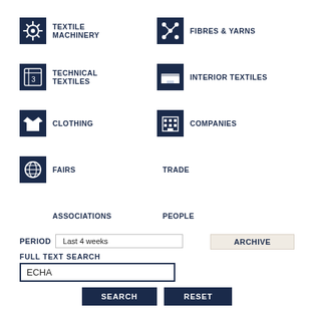[Figure (infographic): Navigation menu with category icons and labels: Textile Machinery, Fibres & Yarns, Technical Textiles, Interior Textiles, Clothing, Companies, Fairs, Trade, Associations, People]
PERIOD  Last 4 weeks
ARCHIVE
FULL TEXT SEARCH
ECHA
SEARCH
RESET